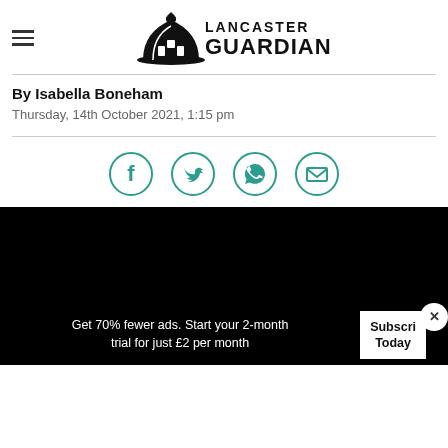Lancaster Guardian
By Isabella Boneham
Thursday, 14th October 2021, 1:15 pm
[Figure (infographic): Social share icons: Facebook, Twitter, WhatsApp, Email — teal circle outlines]
[Figure (photo): Black video player area]
Get 70% fewer ads. Start your 2-month trial for just £2 per month
Subscribe Today